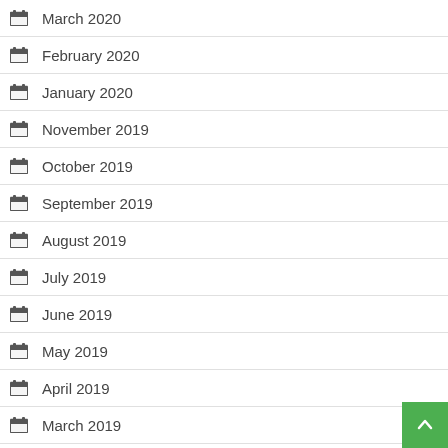March 2020
February 2020
January 2020
November 2019
October 2019
September 2019
August 2019
July 2019
June 2019
May 2019
April 2019
March 2019
February 2019